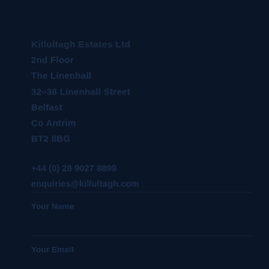Killultagh Estates Ltd
2nd Floor
The Linenhall
32-38 Linenhall Street
Belfast
Co Antrim
BT2 8BG
+44 (0) 28 9027 8899
enquiries@killultagh.com
Your Name
Your Email